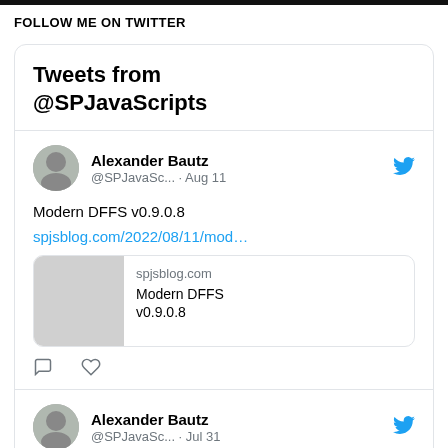FOLLOW ME ON TWITTER
[Figure (screenshot): Twitter widget showing tweets from @SPJavaScripts. First tweet by Alexander Bautz (@SPJavaSc...) dated Aug 11: 'Modern DFFS v0.9.0.8' with link spjsblog.com/2022/08/11/mod... and a link preview card showing spjsblog.com / Modern DFFS v0.9.0.8. Second tweet card visible at bottom showing Alexander Bautz @SPJavaSc... Jul 31.]